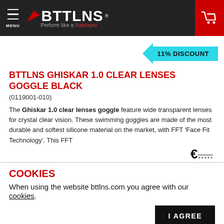BTTLNS — Perform like a Batslayer
11% DISCOUNT
BTTLNS GHISKAR 1.0 CLEAR LENSES GOGGLE BLACK
(0119001-010)
The Ghiskar 1.0 clear lenses goggle feature wide transparent lenses for crystal clear vision. These swimming goggles are made of the most durable and softest silicone material on the market, with FFT 'Face Fit Technology'. This FFT
COOKIES
When using the website bttlns.com you agree with our cookies.
I AGREE